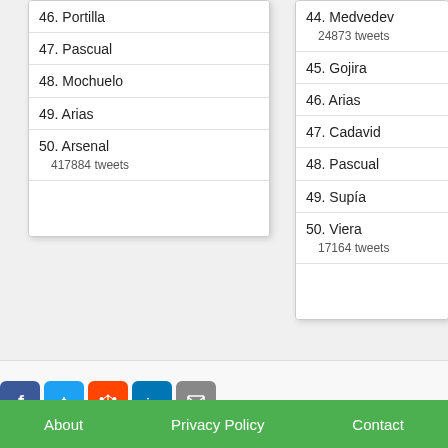46. Portilla
47. Pascual
48. Mochuelo
49. Arias
50. Arsenal
417884 tweets
44. Medvedev
24873 tweets
45. Gojira
46. Arias
47. Cadavid
48. Pascual
49. Supía
50. Viera
17164 tweets
[Figure (infographic): Social media sharing icons: Facebook, Twitter, Reddit, LinkedIn, Email]
About   Privacy Policy   Contact